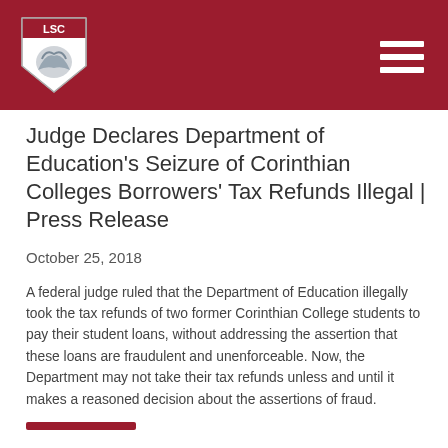[Figure (logo): LSC shield logo on dark red header bar with hamburger menu icon]
Judge Declares Department of Education's Seizure of Corinthian Colleges Borrowers' Tax Refunds Illegal | Press Release
October 25, 2018
A federal judge ruled that the Department of Education illegally took the tax refunds of two former Corinthian College students to pay their student loans, without addressing the assertion that these loans are fraudulent and unenforceable. Now, the Department may not take their tax refunds unless and until it makes a reasoned decision about the assertions of fraud.